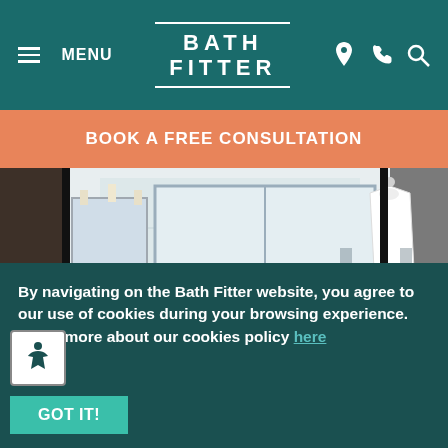MENU | BATH FITTER
BOOK A FREE CONSULTATION
[Figure (photo): Bathroom interior showing a bathtub with sliding glass shower doors, white wall panels, a vanity with mirror and lights, and a white robe hanging on a hook.]
By navigating on the Bath Fitter website, you agree to our use of cookies during your browsing experience. Learn more about our cookies policy here
GOT IT!